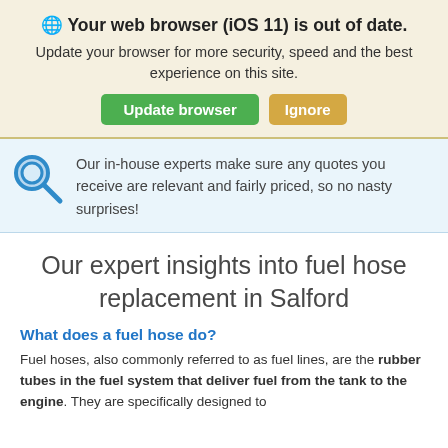🌐 Your web browser (iOS 11) is out of date. Update your browser for more security, speed and the best experience on this site.
Update browser | Ignore
Our in-house experts make sure any quotes you receive are relevant and fairly priced, so no nasty surprises!
Our expert insights into fuel hose replacement in Salford
What does a fuel hose do?
Fuel hoses, also commonly referred to as fuel lines, are the rubber tubes in the fuel system that deliver fuel from the tank to the engine. They are specifically designed to